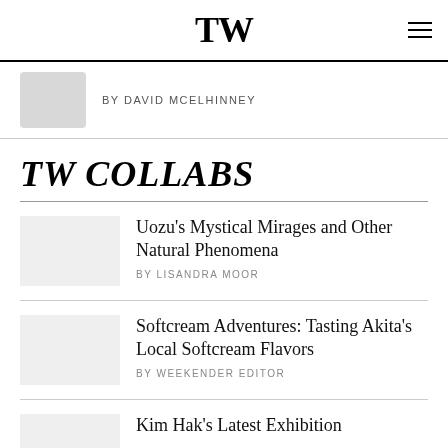TW
BY DAVID MCELHINNEY
TW COLLABS
Uozu's Mystical Mirages and Other Natural Phenomena
BY LISANDRA MOOR
Softcream Adventures: Tasting Akita's Local Softcream Flavors
BY WEEKENDER EDITOR
Kim Hak's Latest Exhibition